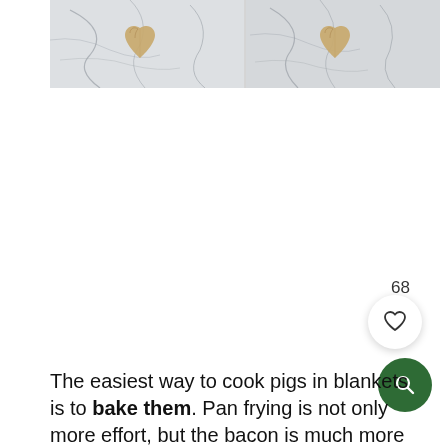[Figure (photo): Two wooden heart-shaped cutting boards on a white marble background, shown side by side]
68
The easiest way to cook pigs in blankets is to bake them. Pan frying is not only more effort, but the bacon is much more likely to unravel